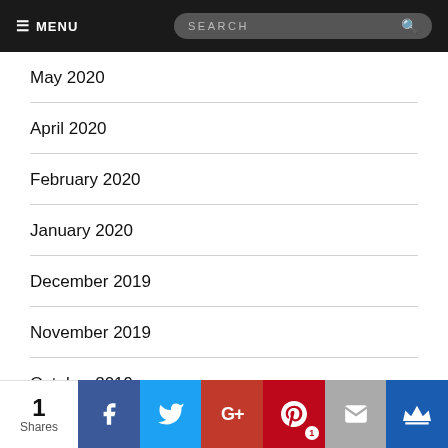≡ MENU  SEARCH
May 2020
April 2020
February 2020
January 2020
December 2019
November 2019
October 2019
March 2019
February 2019
1 Shares  Facebook  Twitter  G+  Pinterest 1  Email  Crown